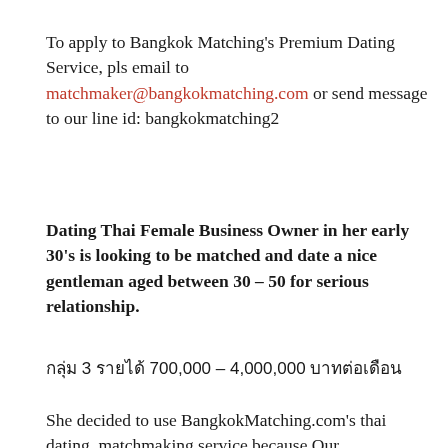To apply to Bangkok Matching's Premium Dating Service, pls email to matchmaker@bangkokmatching.com or send message to our line id: bangkokmatching2
Dating Thai Female Business Owner in her early 30's is looking to be matched and date a nice gentleman aged between 30 – 50 for serious relationship.
กลุ่ม 3 รายได้ 700,000 – 4,000,000 บาทต่อเดือน
She decided to use BangkokMatching.com's thai dating, matchmaking service because Our